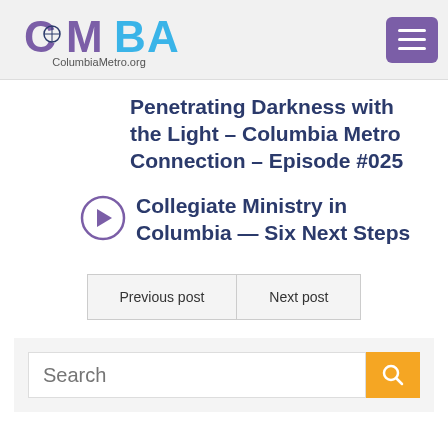ColumbiaMetro.org
Penetrating Darkness with the Light – Columbia Metro Connection – Episode #025
Collegiate Ministry in Columbia — Six Next Steps
Previous post
Next post
Search